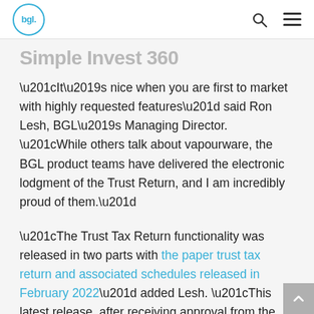bgl. [logo] [search icon] [menu icon]
Simple Invest 360
“It’s nice when you are first to market with highly requested features” said Ron Lesh, BGL’s Managing Director. “While others talk about vapourware, the BGL product teams have delivered the electronic lodgment of the Trust Return, and I am incredibly proud of them.”
“The Trust Tax Return functionality was released in two parts with the paper trust tax return and associated schedules released in February 2022” added Lesh. “This latest release, after receiving approval from the ATO,